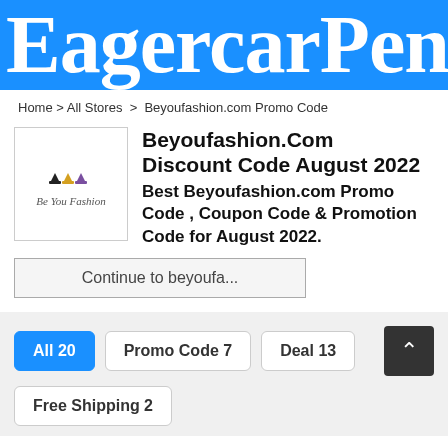EagercarPent
Home > All Stores > Beyoufashion.com Promo Code
Beyoufashion.Com Discount Code August 2022
Best Beyoufashion.com Promo Code , Coupon Code & Promotion Code for August 2022.
Continue to beyoufa...
All 20
Promo Code 7
Deal 13
Free Shipping 2